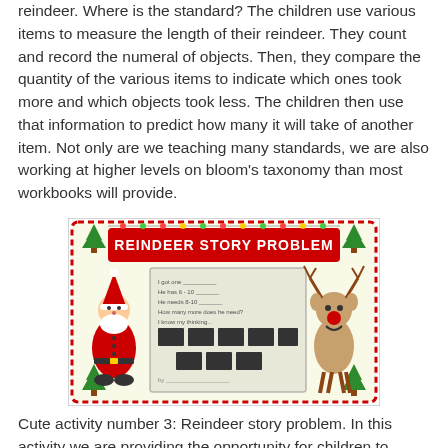reindeer. Where is the standard? The children use various items to measure the length of their reindeer. They count and record the numeral of objects. Then, they compare the quantity of the various items to indicate which ones took more and which objects took less. The children then use that information to predict how many it will take of another item. Not only are we teaching many standards, we are also working at higher levels on bloom's taxonomy than most workbooks will provide.
[Figure (illustration): A colorful Christmas-themed card with a red dotted border and green Christmas trees at the corners. The card reads 'REINDEER STORY PROBLEM' in red bubble letters at the top. On the left is a cartoon Santa Claus and on the right is a cartoon reindeer with a red nose. In the center is a worksheet with fill-in fields and dark blocked-out answer boxes.]
Cute activity number 3: Reindeer story problem. In this activity we are providing the opportunity for children to show how they are understanding from the practical operations